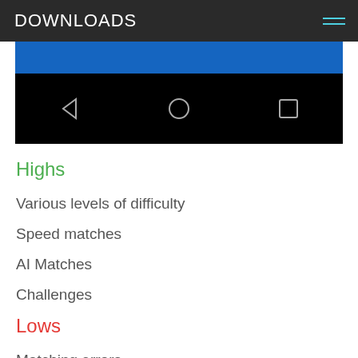DOWNLOADS
[Figure (screenshot): Android device navigation bar with blue top bar and black bottom bar showing back, home, and recents buttons]
Highs
Various levels of difficulty
Speed matches
AI Matches
Challenges
Lows
Matching errors